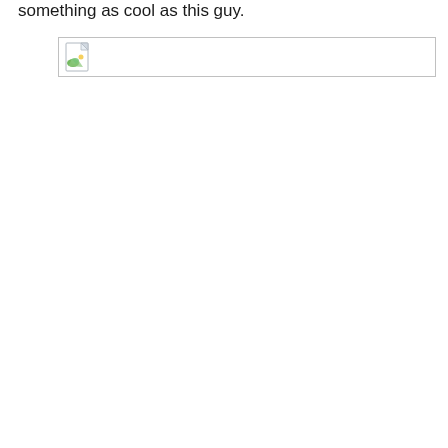something as cool as this guy.
[Figure (photo): Broken image placeholder — a small icon showing a torn image with a green leaf, inside a bordered box roughly 376x38px.]